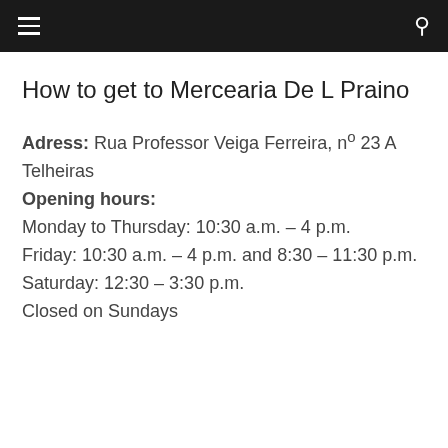≡  🔍
How to get to Mercearia De L Praino
Adress: Rua Professor Veiga Ferreira, nº 23 A Telheiras
Opening hours:
Monday to Thursday: 10:30 a.m. – 4 p.m.
Friday: 10:30 a.m. – 4 p.m. and 8:30 – 11:30 p.m.
Saturday: 12:30 – 3:30 p.m.
Closed on Sundays